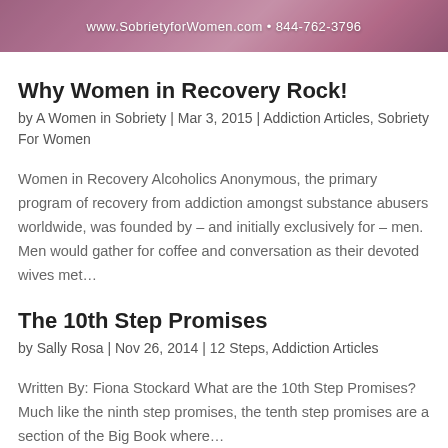[Figure (photo): Banner image with pink/mauve tones and website text overlay showing www.SobrietyforWomen.com and phone number 844-762-3796]
Why Women in Recovery Rock!
by A Women in Sobriety | Mar 3, 2015 | Addiction Articles, Sobriety For Women
Women in Recovery Alcoholics Anonymous, the primary program of recovery from addiction amongst substance abusers worldwide, was founded by – and initially exclusively for – men. Men would gather for coffee and conversation as their devoted wives met…
The 10th Step Promises
by Sally Rosa | Nov 26, 2014 | 12 Steps, Addiction Articles
Written By: Fiona Stockard What are the 10th Step Promises? Much like the ninth step promises, the tenth step promises are a section of the Big Book where…